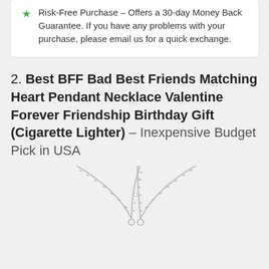Risk-Free Purchase – Offers a 30-day Money Back Guarantee. If you have any problems with your purchase, please email us for a quick exchange.
2. Best BFF Bad Best Friends Matching Heart Pendant Necklace Valentine Forever Friendship Birthday Gift (Cigarette Lighter) – Inexpensive Budget Pick in USA
[Figure (photo): Two silver chain necklaces crossed over each other with heart pendants at the bottom, displayed on a white background.]